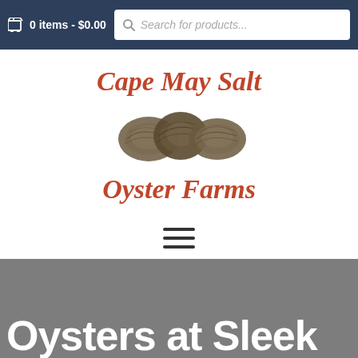🛒 0 items - $0.00   Search for products...
[Figure (logo): Cape May Salt Oyster Farms logo with cursive red text and oyster illustration in the center]
[Figure (other): Hamburger menu icon (three horizontal lines)]
Oysters at Sleek